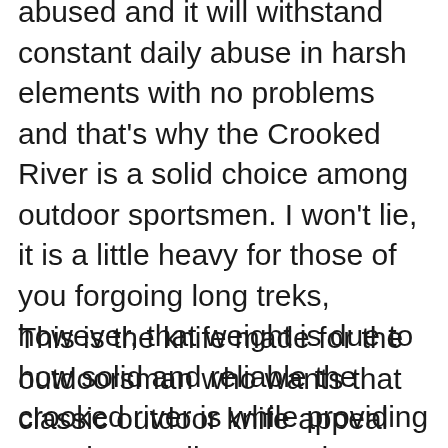abused and it will withstand constant daily abuse in harsh elements with no problems and that's why the Crooked River is a solid choice among outdoor sportsmen. I won't lie, it is a little heavy for those of you forgoing long treks, however, that weight is due to how solid and reliable the crooked river is while providing premium attributes such as that beautifully sealed wood grain handle and its ultra-strong AXIS lock.
This is the knife made for the outdoorsman who wants that classic outdoor knife appeal combined with industry-leading versatility and